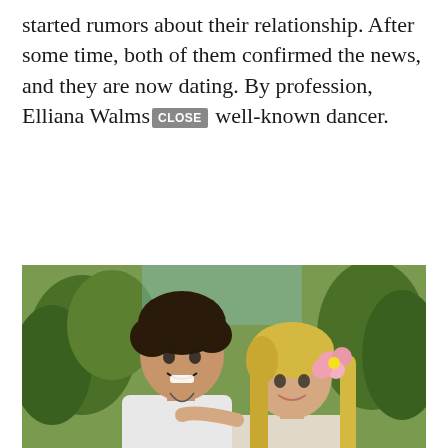started rumors about their relationship. After some time, both of them confirmed the news, and they are now dating. By profession, Elliana Walms[CLOSE] well-known dancer.
[Figure (photo): A young couple posing together outdoors with palm trees in background. A teenage boy with dark curly hair wearing a white shirt and a blonde girl with a pink flower in her hair. The girl has her arm around the boy. A 'CLOSE' button overlay appears at bottom right of the photo.]